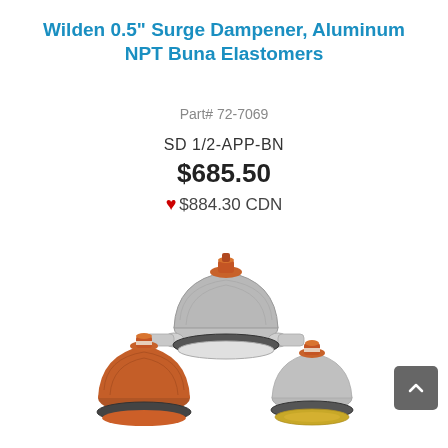Wilden 0.5" Surge Dampener, Aluminum NPT Buna Elastomers
Part# 72-7069
SD 1/2-APP-BN
$685.50
♥ $884.30 CDN
[Figure (photo): Multiple Wilden surge dampener units shown from different angles — orange/copper colored elastomer dome-shaped units with silver/chrome metal bodies and fittings, displayed as a product group shot]